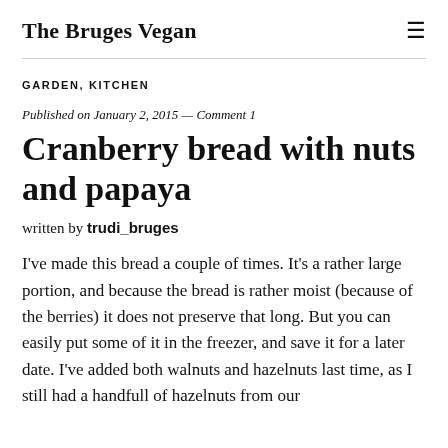The Bruges Vegan
GARDEN, KITCHEN
Published on January 2, 2015 — Comment 1
Cranberry bread with nuts and papaya
written by trudi_bruges
I've made this bread a couple of times. It's a rather large portion, and because the bread is rather moist (because of the berries) it does not preserve that long. But you can easily put some of it in the freezer, and save it for a later date. I've added both walnuts and hazelnuts last time, as I still had a handfull of hazelnuts from our